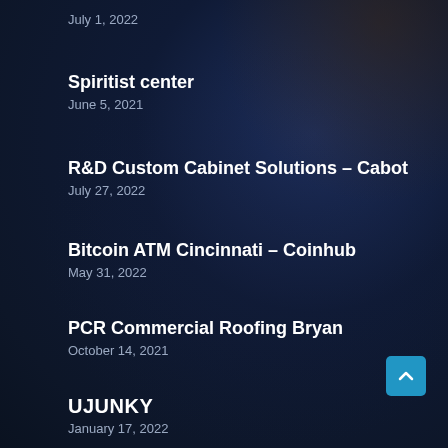July 1, 2022
Spiritist center
June 5, 2021
R&D Custom Cabinet Solutions – Cabot
July 27, 2022
Bitcoin ATM Cincinnati – Coinhub
May 31, 2022
PCR Commercial Roofing Bryan
October 14, 2021
UJUNKY
January 17, 2022